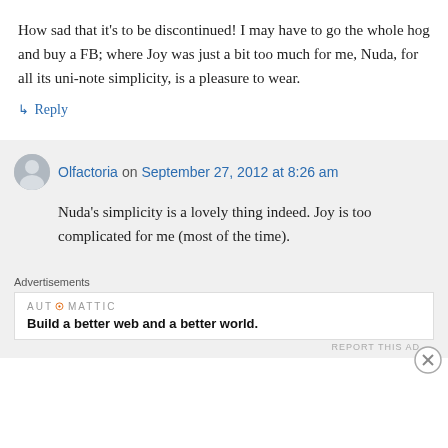How sad that it's to be discontinued! I may have to go the whole hog and buy a FB; where Joy was just a bit too much for me, Nuda, for all its uni-note simplicity, is a pleasure to wear.
↳ Reply
Olfactoria on September 27, 2012 at 8:26 am
Nuda's simplicity is a lovely thing indeed. Joy is too complicated for me (most of the time).
Advertisements
AUTOMATTIC
Build a better web and a better world.